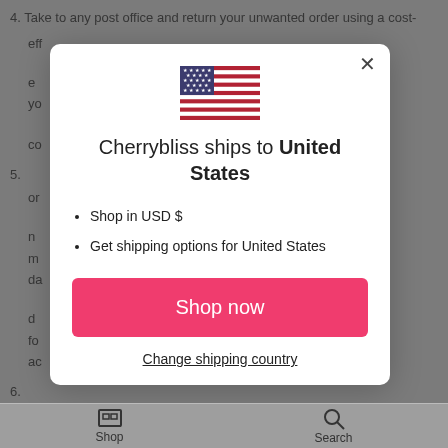4. Take to any post office and return your unwanted order using a cost-eff... yo... co...
5. on... m... da... fo... ac...
6. re... or... pu... flu...
[Figure (screenshot): Modal dialog showing US flag, text 'Cherrybliss ships to United States', bullet points 'Shop in USD $' and 'Get shipping options for United States', a pink 'Shop now' button, and a 'Change shipping country' link with a close X button.]
Shop in USD $
Get shipping options for United States
Shop now
Change shipping country
Shop   Search